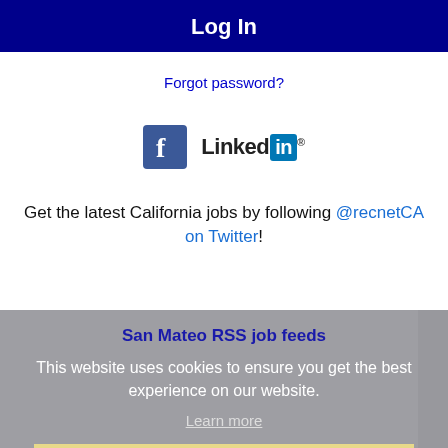Log In
Forgot password?
[Figure (logo): Facebook and LinkedIn social login icons side by side]
Get the latest California jobs by following @recnetCA on Twitter!
San Mateo RSS job feeds
This website uses cookies to ensure you get the best experience on our website.
Learn more
Got it!
JOB SEEKERS
Search San Mateo jobs